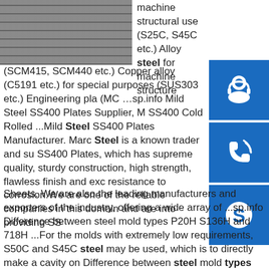[Figure (photo): Stack of steel plates/sheets photographed from the side, showing layered metallic surfaces in grey tones]
machine structural use (S25C, S45C etc.) Alloy steel for machine structure (SCM415, SCM440 etc.) Copper alloy (C5191 etc.) for special purposes (SUS303 etc.) Engineering pla (MC …sp.info Mild Steel SS400 Plates Supplier, M SS400 Cold Rolled ...Mild Steel SS400 Plates Manufacturer. Marc Steel is a known trader and su SS400 Plates, which has supreme quality, sturdy construction, high strength, flawless finish and exc resistance to corrosion.We are one of the reliable companies in this domain and are into providing SS Sheets. We are also the leading manufacturers and exporters of the industry, offering a wide array of ...sp.info Difference between steel mold types P20H S136H and 718H ...For the molds with extremely low requirements, S50C and S45C steel may be used, which is to directly make a cavity on Difference between steel mold types P20H S136H and 718HChina Blow Molding
[Figure (infographic): Blue icon box with white headset/customer support icon]
[Figure (infographic): Blue icon box with white phone/call icon]
[Figure (infographic): Blue icon box with white Skype icon (S letter in circle)]